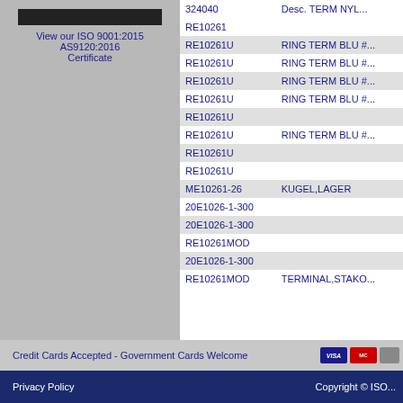View our ISO 9001:2015 AS9120:2016 Certificate
| Part Number | Description |
| --- | --- |
| 324040 | Desc. TERM NYL... |
| RE10261 |  |
| RE10261U | RING TERM BLU #... |
| RE10261U | RING TERM BLU #... |
| RE10261U | RING TERM BLU #... |
| RE10261U | RING TERM BLU #... |
| RE10261U |  |
| RE10261U | RING TERM BLU #... |
| RE10261U |  |
| RE10261U |  |
| ME10261-26 | KUGEL,LAGER |
| 20E1026-1-300 |  |
| 20E1026-1-300 |  |
| RE10261MOD |  |
| 20E1026-1-300 |  |
| RE10261MOD | TERMINAL,STAKO... |
Credit Cards Accepted - Government Cards Welcome
Privacy Policy   Copyright © ISO...